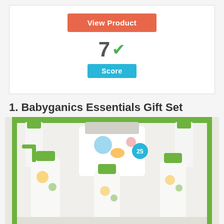[Figure (screenshot): View Product button (coral/salmon color) centered in white card]
7 Score
1. Babyganics Essentials Gift Set
[Figure (photo): Babyganics Essentials Gift Set - multiple green-capped bottles and wipes in a green-bordered white box]